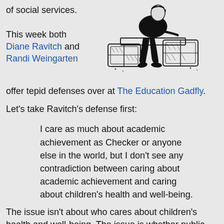of social services.
[Figure (illustration): Black and white illustration of a person sitting on luggage or boxes, appearing to be resting or waiting.]
This week both Diane Ravitch and Randi Weingarten offer tepid defenses over at The Education Gadfly.
Let's take Ravitch's defense first:
I care as much about academic achievement as Checker or anyone else in the world, but I don't see any contradiction between caring about academic achievement and caring about children's health and well-being.
The issue isn't about who cares about children's health and well-being. The issue is whether public schools, who are by and large failing at their primary task of education, should take on the additional responsibilities of caring about children's health and well-being. You and I are...